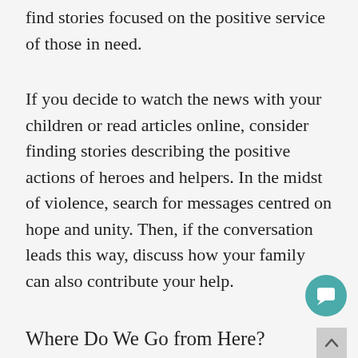find stories focused on the positive service of those in need.
If you decide to watch the news with your children or read articles online, consider finding stories describing the positive actions of heroes and helpers. In the midst of violence, search for messages centred on hope and unity. Then, if the conversation leads this way, discuss how your family can also contribute your help.
Where Do We Go from Here?